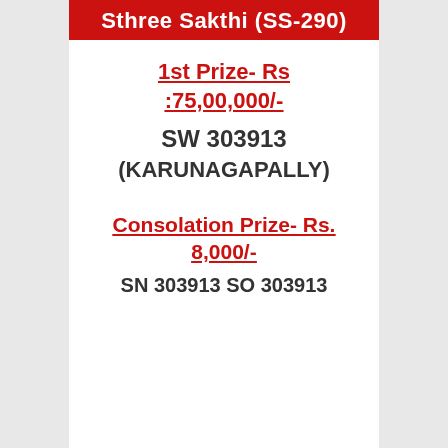Sthree Sakthi (SS-290)
1st Prize- Rs :75,00,000/-
SW 303913
(KARUNAGAPALLY)
Consolation Prize- Rs. 8,000/-
SN 303913 SO 303913